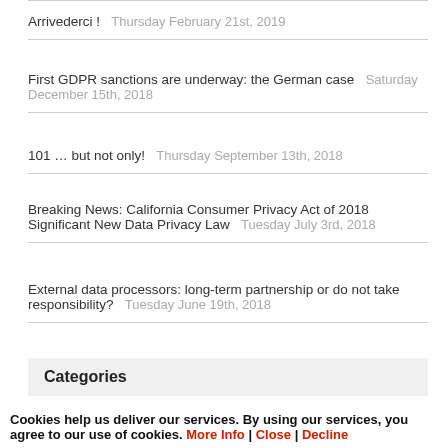Arrivederci ! Thursday February 21st, 2019
First GDPR sanctions are underway: the German case Saturday December 15th, 2018
101 … but not only! Thursday September 13th, 2018
Breaking News: California Consumer Privacy Act of 2018 Significant New Data Privacy Law Tuesday July 3rd, 2018
External data processors: long-term partnership or do not take responsibility? Tuesday June 19th, 2018
Categories
Codes of conduct and certification (13)
Data Breach (31)
Data Protection Officer (52)
Cookies help us deliver our services. By using our services, you agree to our use of cookies. More Info | Close | Decline